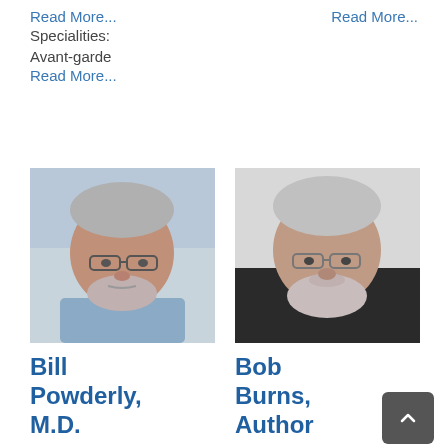Specialities:
Avant-garde
Read More...
Read More...
Read More...
[Figure (photo): Headshot of Bill Powderly, M.D. — an older man with glasses and gray hair, wearing a light blue shirt]
[Figure (photo): Headshot of Bob Burns, Author — an older man with glasses, gray hair and beard, smiling, wearing a dark jacket]
Bill Powderly, M.D.
Bob Burns, Author
December 15th, 2020 | 0 Comments
December 15th, 2020 | 0 Comments